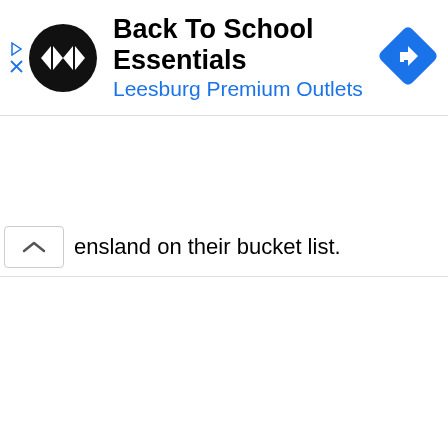[Figure (screenshot): Advertisement banner for 'Back To School Essentials' at Leesburg Premium Outlets. Contains a circular black logo with a double-arrow symbol, ad title in bold black text, subtitle in blue text, and a blue diamond navigation icon on the right. Below the ad is a partial text line reading 'ensland on their bucket list.' with a collapse chevron button on the left.]
ensland on their bucket list.